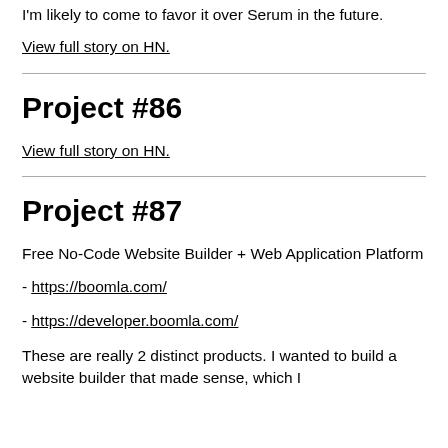I'm likely to come to favor it over Serum in the future.
View full story on HN.
Project #86
View full story on HN.
Project #87
Free No-Code Website Builder + Web Application Platform
- https://boomla.com/
- https://developer.boomla.com/
These are really 2 distinct products. I wanted to build a website builder that made sense, which I